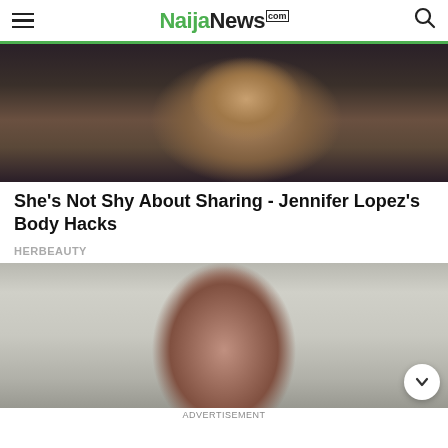NaijaNews.com
[Figure (photo): Close-up photo showing a person's tattooed arms and torso wearing a black bikini top, reclining on a dark sofa]
She's Not Shy About Sharing - Jennifer Lopez's Body Hacks
HERBEAUTY
[Figure (photo): Photo of a wide-eyed woman with wet reddish-brown hair and an open mouth expression, against a grey brick wall background]
ADVERTISEMENT